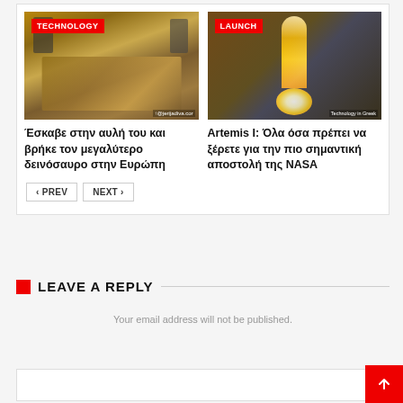[Figure (photo): Article card with two news items: (1) Dinosaur excavation photo with TECHNOLOGY badge and Greek headline, (2) Rocket launch photo with LAUNCH badge and Greek headline about Artemis I NASA mission. Navigation buttons PREV and NEXT below.]
Έσκαβε στην αυλή του και βρήκε τον μεγαλύτερο δεινόσαυρο στην Ευρώπη
Artemis I: Όλα όσα πρέπει να ξέρετε για την πιο σημαντική αποστολή της NASA
LEAVE A REPLY
Your email address will not be published.